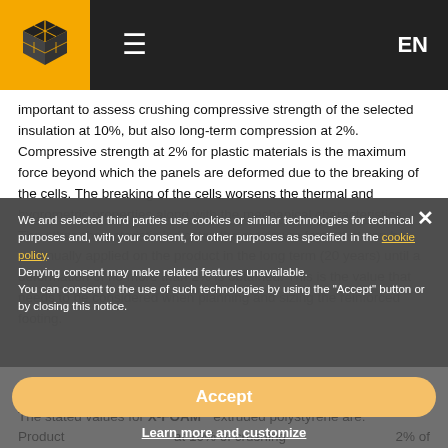[Figure (logo): Orange square logo with cube/grid icon on dark header bar with hamburger menu and EN language selector]
important to assess crushing compressive strength of the selected insulation at 10%, but also long-term compression at 2%. Compressive strength at 2% for plastic materials is the maximum force beyond which the panels are deformed due to the breaking of the cells. The breaking of the cells worsens the thermal and hygrometric properties along with the mechanical characteristics. The other characteristic indicates the maximum force that can be continually applied on the product in the long term (20 years) until a deformation of no more than 2% is obtained. This is the value that needs to be considered when planning and sizing the reinforced footing.
We and selected third parties use cookies or similar technologies for technical purposes and, with your consent, for other purposes as specified in the cookie policy. Denying consent may make related features unavailable. You can consent to the use of such technologies by using the "Accept" button or by closing this notice.
The stated values for X-FOAM® extruded polystyrene are:
Product    at 10% of crushing    2% of